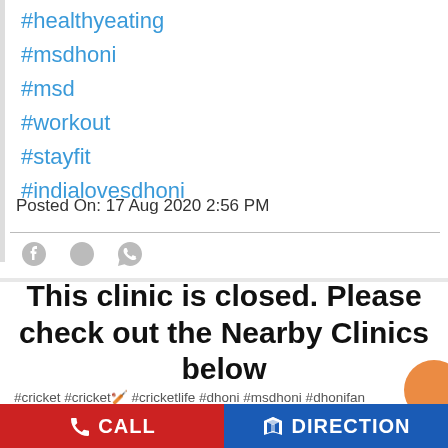#healthyeating
#msdhoni
#msd
#workout
#stayfit
#indialovesdhoni
Posted On: 17 Aug 2020 2:56 PM
[Figure (other): Social share icons: Facebook, Twitter, WhatsApp]
This clinic is closed. Please check out the Nearby Clinics below
#cricket #cricket🏏 #cricketlife #dhoni #msdhoni #dhonifan #dhoniretires
#cricket
#cricketlife
CALL   DIRECTION